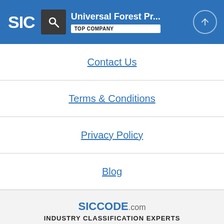SIC | Universal Forest Pr... | TOP COMPANY
Contact Us
Terms & Conditions
Privacy Policy
Blog
SICCODE.com INDUSTRY CLASSIFICATION EXPERTS Copyright 2022 © SICCODE.com